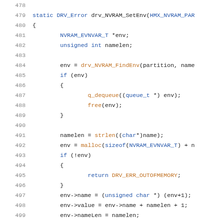Code listing lines 478-499, showing C function drv_NVRAM_SetEnv with variable declarations, memory allocation, and struct assignments.